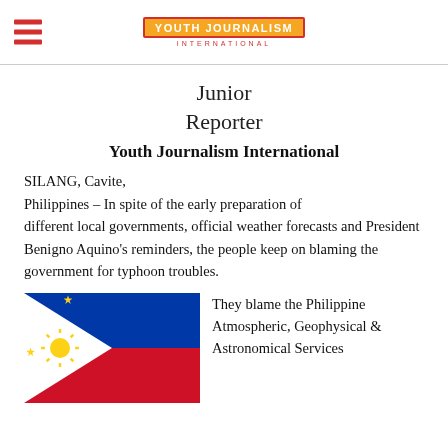YOUTH JOURNALISM INTERNATIONAL
Junior Reporter
Youth Journalism International
SILANG, Cavite, Philippines – In spite of the early preparation of different local governments, official weather forecasts and President Benigno Aquino's reminders, the people keep on blaming the government for typhoon troubles.
[Figure (illustration): Flag of the Philippines — white triangle on the left with a golden sun and three stars; blue stripe on top; red stripe on bottom.]
They blame the Philippine Atmospheric, Geophysical & Astronomical Services